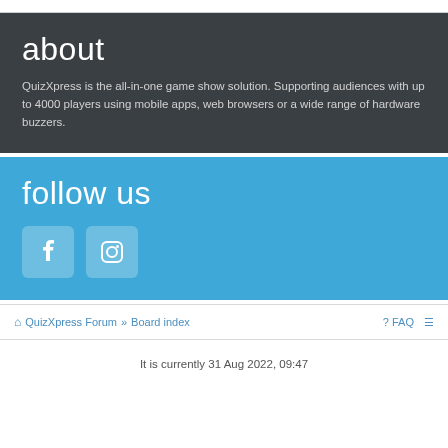about
QuizXpress is the all-in-one game show solution. Supporting audiences with up to 4000 players using mobile apps, web browsers or a wide range of hardware buzzers.
follow us
[Figure (illustration): Facebook and Instagram social media icons as rounded square buttons on blue background]
QuizXpress Forum » Board index   FAQ
It is currently 31 Aug 2022, 09:47